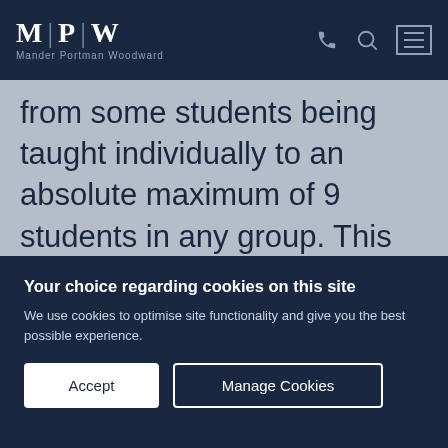MPW | Mander Portman Woodward
from some students being taught individually to an absolute maximum of 9 students in any group. This allows tutors plenty of opportunity to spend time with each student and tailor the courses more directly to them. In addition, students are asked to complete a questionnaire prior to their course beginning summarising their
Your choice regarding cookies on this site
We use cookies to optimise site functionality and give you the best possible experience.
Accept
Manage Cookies